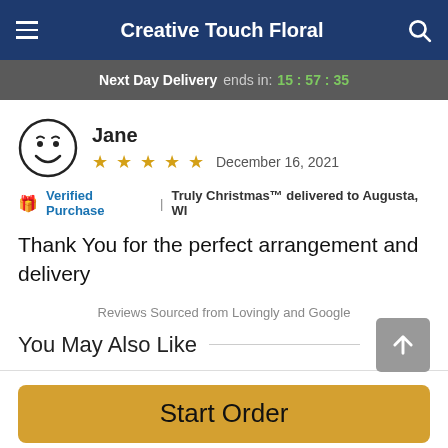Creative Touch Floral
Next Day Delivery ends in: 15:57:35
Jane
★ ★ ★ ★ ★  December 16, 2021
🎁 Verified Purchase | Truly Christmas™ delivered to Augusta, WI
Thank You for the perfect arrangement and delivery
Reviews Sourced from Lovingly and Google
You May Also Like
Start Order